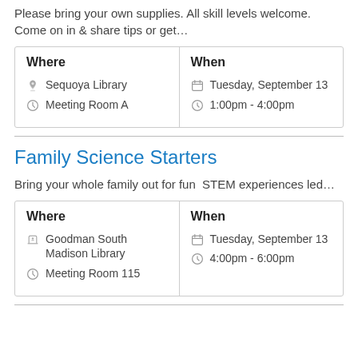Please bring your own supplies. All skill levels welcome. Come on in & share tips or get…
| Where | When |
| --- | --- |
| 🏫 Sequoya Library
📍 Meeting Room A | 📅 Tuesday, September 13
🕐 1:00pm - 4:00pm |
Family Science Starters
Bring your whole family out for fun  STEM experiences led…
| Where | When |
| --- | --- |
| 📚 Goodman South Madison Library
📍 Meeting Room 115 | 📅 Tuesday, September 13
🕐 4:00pm - 6:00pm |